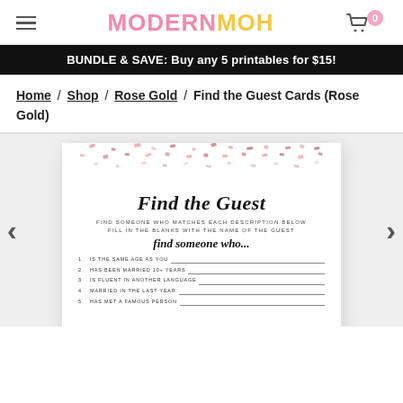MODERNMOH
BUNDLE & SAVE: Buy any 5 printables for $15!
Home / Shop / Rose Gold / Find the Guest Cards (Rose Gold)
[Figure (photo): Product mockup of a 'Find the Guest' bachelorette party game card with rose gold confetti design, showing title 'Find the Guest', instructions, and a list of guest-finding prompts including 'Is the same age as you', 'Has been married 10+ years', 'Is fluent in another language', 'Married in the last year', 'Has met a famous person']